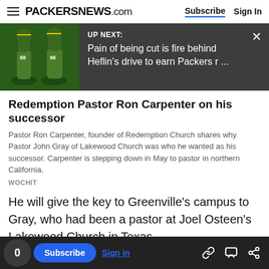PACKERSNEWS.com  Subscribe  Sign In
[Figure (screenshot): UP NEXT banner with football players image on dark background. Text: 'UP NEXT: Pain of being cut is fire behind Heflin's drive to earn Packers r ...' with close X button.]
Redemption Pastor Ron Carpenter on his successor
Pastor Ron Carpenter, founder of Redemption Church shares why Pastor John Gray of Lakewood Church was who he wanted as his successor. Carpenter is stepping down in May to pastor in northern California.
WOCHIT
He will give the key to Greenville's campus to Gray, who had been a pastor at Joel Osteen's Lakewood Church in Texas.
Carpenter won't preach at his final Sunday service. But it won't be because he doesn't want to...